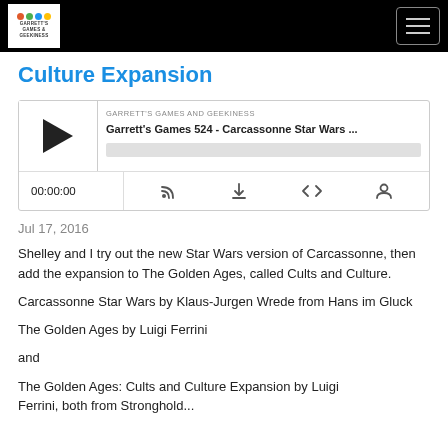Garrett's Games and Geekiness — navigation header
Culture Expansion
[Figure (other): Podcast audio player widget showing episode 'Garrett's Games 524 - Carcassonne Star Wars ...' with play button, progress bar, time 00:00:00, and control icons for RSS, download, embed, and share]
Jul 17, 2016
Shelley and I try out the new Star Wars version of Carcassonne, then add the expansion to The Golden Ages, called Cults and Culture.
Carcassonne Star Wars by Klaus-Jurgen Wrede from Hans im Gluck
The Golden Ages by Luigi Ferrini
and
The Golden Ages: Cults and Culture Expansion by Luigi Ferrini, both from Stronghold...